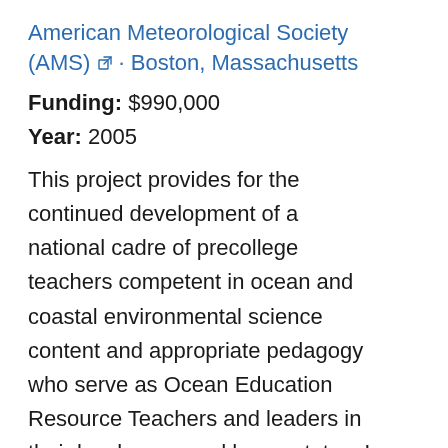American Meteorological Society (AMS) · Boston, Massachusetts
Funding: $990,000
Year: 2005
This project provides for the continued development of a national cadre of precollege teachers competent in ocean and coastal environmental science content and appropriate pedagogy who serve as Ocean Education Resource Teachers and leaders in their local areas and home states. In recognition of the vital role of teachers in promoting environmental literacy, the American Meteorological Society (AMS)